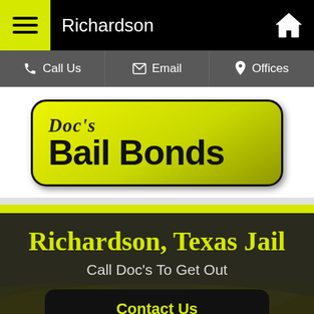Richardson
[Figure (logo): Doc's Bail Bonds logo — yellow rounded rectangle with script 'Doc's' and bold 'Bail Bonds' text]
Richardson, Texas Jail
Call Doc's To Get Out
Contact Us